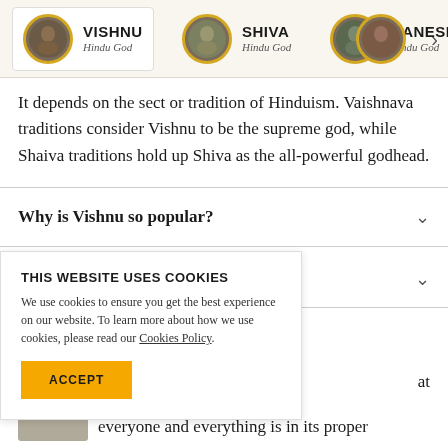VISHNU Hindu God | SHIVA Hindu God | GANESHA Hindu God
It depends on the sect or tradition of Hinduism. Vaishnava traditions consider Vishnu to be the supreme god, while Shaiva traditions hold up Shiva as the all-powerful godhead.
Why is Vishnu so popular?
THIS WEBSITE USES COOKIES
We use cookies to ensure you get the best experience on our website. To learn more about how we use cookies, please read our Cookies Policy.
ACCEPT
at everyone and everything is in its proper